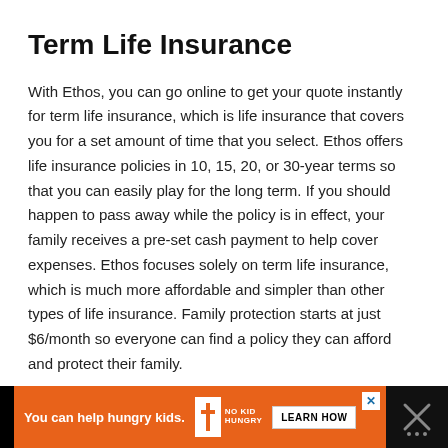Term Life Insurance
With Ethos, you can go online to get your quote instantly for term life insurance, which is life insurance that covers you for a set amount of time that you select. Ethos offers life insurance policies in 10, 15, 20, or 30-year terms so that you can easily play for the long term. If you should happen to pass away while the policy is in effect, your family receives a pre-set cash payment to help cover expenses. Ethos focuses solely on term life insurance, which is much more affordable and simpler than other types of life insurance. Family protection starts at just $6/month so everyone can find a policy they can afford and protect their family.
[Figure (infographic): Advertisement banner: orange background with 'You can help hungry kids.' text, No Kid Hungry logo, and a 'LEARN HOW' button. Black section on right with an X close icon.]